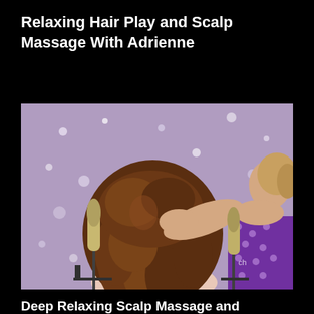Relaxing Hair Play and Scalp Massage With Adrienne
[Figure (photo): A woman with long curly brown hair has her head bowed forward while another woman in a purple polka dot dress massages her scalp. Two studio microphones are placed on either side. The background is a shimmery purple fabric.]
Deep Relaxing Scalp Massage and Whispers